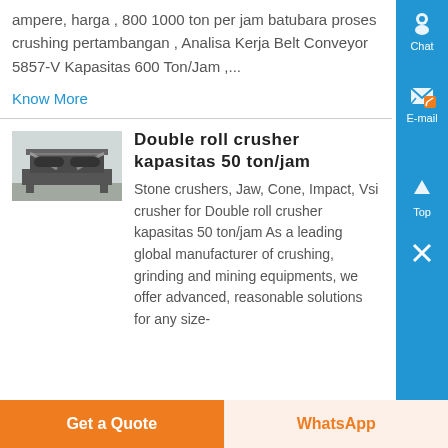ampere, harga , 800 1000 ton per jam batubara proses crushing pertambangan , Analisa Kerja Belt Conveyor 5857-V Kapasitas 600 Ton/Jam ,...
Know More
Double roll crusher kapasitas 50 ton/jam
[Figure (photo): Photo of a double roll crusher machine in an industrial setting]
Stone crushers, Jaw, Cone, Impact, Vsi crusher for Double roll crusher kapasitas 50 ton/jam As a leading global manufacturer of crushing, grinding and mining equipments, we offer advanced, reasonable solutions for any size-
Get a Quote   WhatsApp